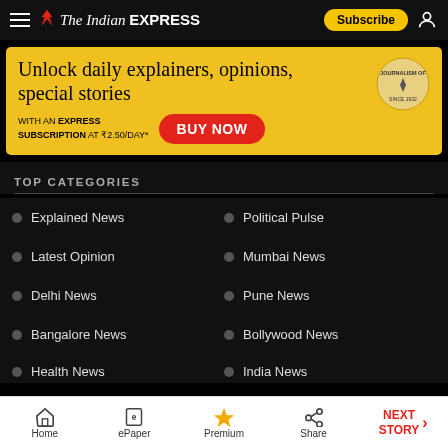The Indian Express — Subscribe
[Figure (infographic): Advertisement banner: Unlock daily explainers, opinions, special stories with an EXPRESS SUBSCRIPTION AT ₹2.50/DAY* — BUY NOW button in red]
TOP CATEGORIES
Explained News
Political Pulse
Latest Opinion
Mumbai News
Delhi News
Pune News
Bangalore News
Bollywood News
Health News
India News
Home | ePaper | Premium | Share | NEXT STORY